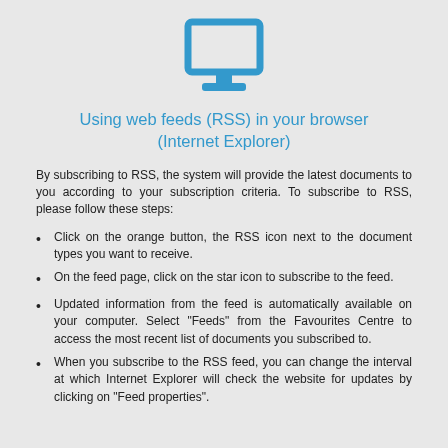[Figure (illustration): Blue monitor/computer screen icon centered at top of page]
Using web feeds (RSS) in your browser (Internet Explorer)
By subscribing to RSS, the system will provide the latest documents to you according to your subscription criteria. To subscribe to RSS, please follow these steps:
Click on the orange button, the RSS icon next to the document types you want to receive.
On the feed page, click on the star icon to subscribe to the feed.
Updated information from the feed is automatically available on your computer. Select "Feeds" from the Favourites Centre to access the most recent list of documents you subscribed to.
When you subscribe to the RSS feed, you can change the interval at which Internet Explorer will check the website for updates by clicking on "Feed properties".